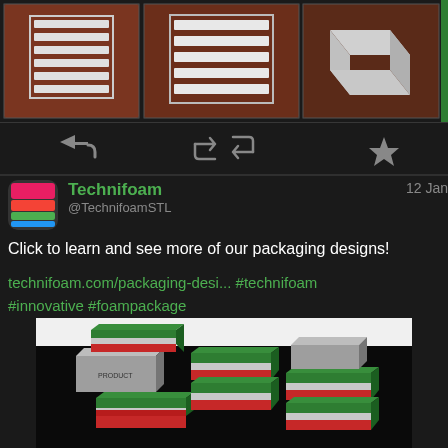[Figure (photo): Three photos of white foam packaging/vent components on a dark red surface, shown in a horizontal strip at the top. A partial green element is visible on the far right edge.]
[Figure (screenshot): Twitter/social media action bar with reply arrow, retweet arrows, and star/favorite icon on dark background.]
[Figure (photo): Twitter profile avatar for Technifoam showing colorful striped icon]
Technifoam
@TechnifoamSTL
12 Jan
Click to learn and see more of our packaging designs!
technifoam.com/packaging-desi... #technifoam #innovative #foampackage
[Figure (illustration): 3D rendered illustration of foam packaging components on black background showing green/red striped foam inserts and a grey rectangular product block labeled PRODUCT, arranged to show packaging assembly concept.]